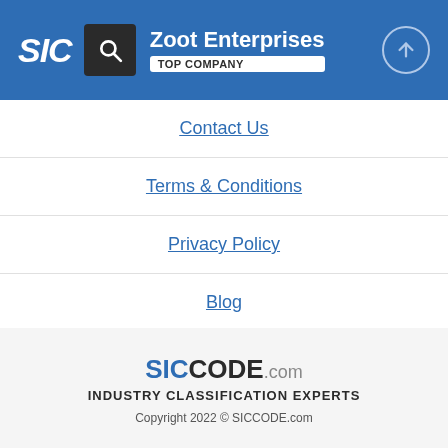SIC | Zoot Enterprises | TOP COMPANY
Contact Us
Terms & Conditions
Privacy Policy
Blog
SICCODE.com | INDUSTRY CLASSIFICATION EXPERTS | Copyright 2022 © SICCODE.com